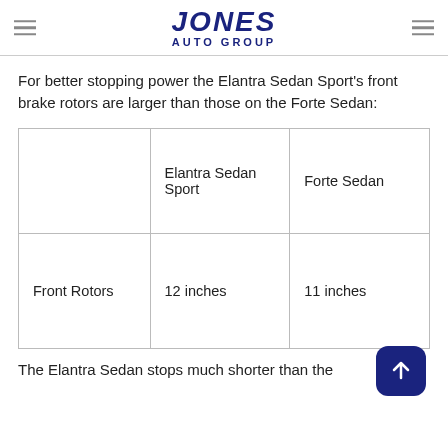JONES AUTO GROUP
For better stopping power the Elantra Sedan Sport's front brake rotors are larger than those on the Forte Sedan:
|  | Elantra Sedan Sport | Forte Sedan |
| --- | --- | --- |
| Front Rotors | 12 inches | 11 inches |
The Elantra Sedan stops much shorter than the